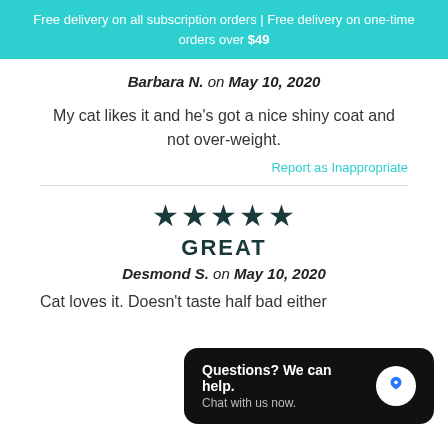Free delivery on all subscription orders | Free delivery on one-time orders over $49
Barbara N. on May 10, 2020
My cat likes it and he's got a nice shiny coat and not over-weight.
Report as Inappropriate
[Figure (other): Five filled star rating icons]
GREAT
Desmond S. on May 10, 2020
Cat loves it. Doesn't taste half bad either
Questions? We can help. Chat with us now.